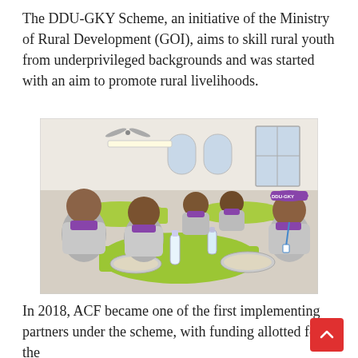The DDU-GKY Scheme, an initiative of the Ministry of Rural Development (GOI), aims to skill rural youth from underprivileged backgrounds and was started with an aim to promote rural livelihoods.
[Figure (photo): Young men in grey and purple polo shirts sitting at green tables in a dining hall, eating meals from steel plates. Water bottles are on the table. They appear to be trainees wearing DDU-GKY branded caps and lanyards.]
In 2018, ACF became one of the first implementing partners under the scheme, with funding allotted for the